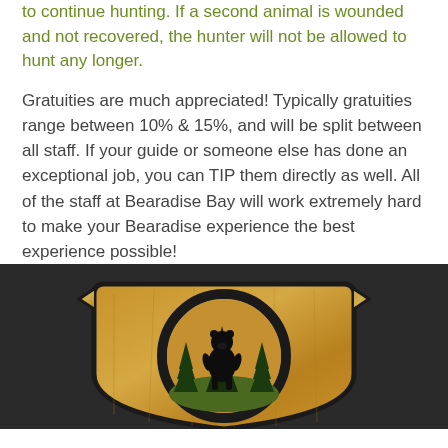to continue hunting.  If a second animal is wounded and not recovered, the hunter will not be allowed to hunt any longer.
Gratuities are much appreciated!  Typically gratuities range between 10% & 15%, and will be split between all staff.  If your guide or someone else has done an exceptional job, you can TIP them directly as well.  All of the staff at Bearadise Bay will work extremely hard to make your Bearadise experience the best experience possible!
[Figure (logo): Bearadise Bay logo on dark background — a wooden shield-shaped plaque with a black bear silhouette standing in front of dark green pine trees, mounted on a wooden board with decorative black border.]